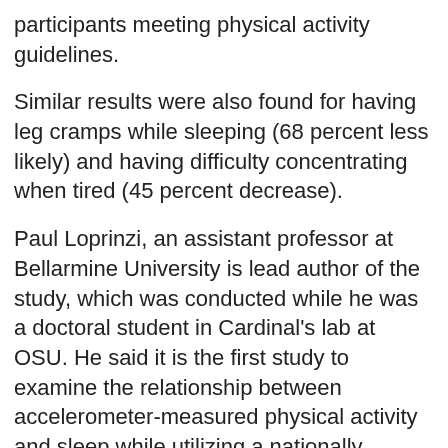participants meeting physical activity guidelines.
Similar results were also found for having leg cramps while sleeping (68 percent less likely) and having difficulty concentrating when tired (45 percent decrease).
Paul Loprinzi, an assistant professor at Bellarmine University is lead author of the study, which was conducted while he was a doctoral student in Cardinal's lab at OSU. He said it is the first study to examine the relationship between accelerometer-measured physical activity and sleep while utilizing a nationally representative sample of adults of all ages.
'Our findings demonstrate a link between regular